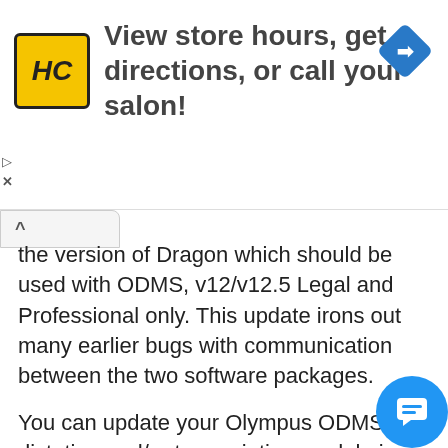[Figure (logo): HC logo in yellow square with navigation diamond icon - advertisement banner: 'View store hours, get directions, or call your salon!']
the version of Dragon which should be used with ODMS, v12/v12.5 Legal and Professional only. This update irons out many earlier bugs with communication between the two software packages.
You can update your Olympus ODMS dictation and/or transcription module in the usual way by selecting Help -> Check For Updates from within your preferred module which should initiate the fairly large (400+Mb) update to your ODMS software. If this isn't working for you please leave a comment and we will send you a link to download the update.